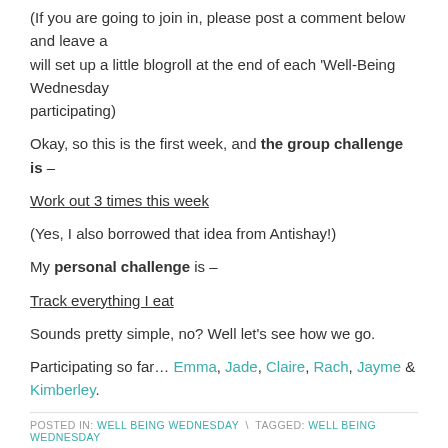(If you are going to join in, please post a comment below and leave a will set up a little blogroll at the end of each 'Well-Being Wednesday participating)
Okay, so this is the first week, and the group challenge is –
Work out 3 times this week
(Yes, I also borrowed that idea from Antishay!)
My personal challenge is –
Track everything I eat
Sounds pretty simple, no? Well let's see how we go.
Participating so far… Emma, Jade, Claire, Rach, Jayme & Kimberley.
POSTED IN: WELL BEING WEDNESDAY \ TAGGED: WELL BEING WEDNESDAY